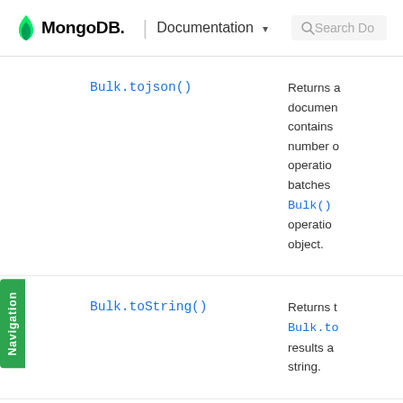MongoDB. | Documentation  Search Do
| Method | Description |
| --- | --- |
| Bulk.tojson() | Returns a document that contains the number of operations and batches in the Bulk() operations object. |
| Bulk.toString() | Returns the Bulk.tojson() results as a string. |